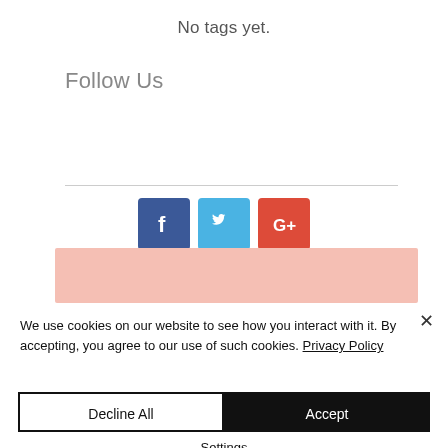No tags yet.
Follow Us
[Figure (other): Social media icons: Facebook (blue), Twitter (light blue), Google+ (red)]
We use cookies on our website to see how you interact with it. By accepting, you agree to our use of such cookies. Privacy Policy
Decline All
Accept
Settings